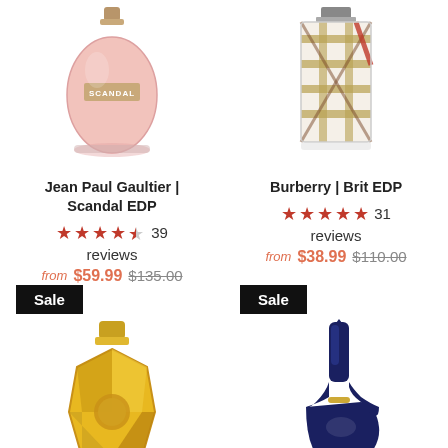[Figure (photo): Jean Paul Gaultier Scandal EDP perfume bottle - pink rounded bottle]
Jean Paul Gaultier | Scandal EDP
★★★★½ 39 reviews
from $59.99 $135.00
[Figure (photo): Burberry Brit EDP perfume bottle - plaid patterned bottle]
Burberry | Brit EDP
★★★★★ 31 reviews
from $38.99 $110.00
Sale
[Figure (photo): Gold faceted perfume bottle - Lady Million style]
Sale
[Figure (photo): Dark blue stiletto heel shaped perfume bottle - Good Girl style]